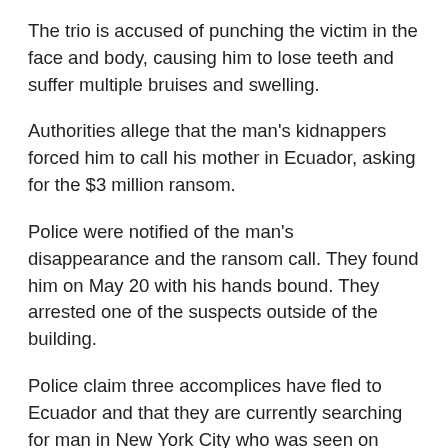The trio is accused of punching the victim in the face and body, causing him to lose teeth and suffer multiple bruises and swelling.
Authorities allege that the man's kidnappers forced him to call his mother in Ecuador, asking for the $3 million ransom.
Police were notified of the man's disappearance and the ransom call. They found him on May 20 with his hands bound. They arrested one of the suspects outside of the building.
Police claim three accomplices have fled to Ecuador and that they are currently searching for man in New York City who was seen on surveillance footage at a Chase Bank trying to get cash from the victim's account.
Kidnapping charges are quite severe, classified as a felony by both state and federal law. Because these